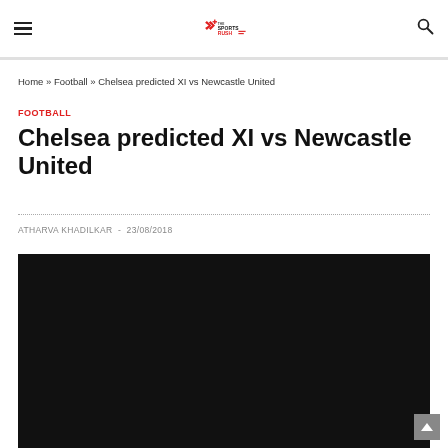The Sports Rush — Navigation header with hamburger menu, logo, and search icon
Home » Football » Chelsea predicted XI vs Newcastle United
FOOTBALL
Chelsea predicted XI vs Newcastle United
ATHARVA KHADILKAR - 23/08/2018
[Figure (photo): Dark/black image area for article featured image]